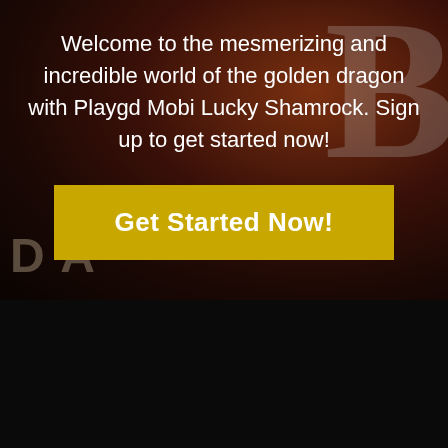[Figure (photo): Dark casino/gaming themed background with reddish-brown tones, a large faded letter B on the right, and faded card/letter shapes on the left]
Welcome to the mesmerizing and incredible world of the golden dragon with Playgd Mobi Lucky Shamrock. Sign up to get started now!
Get Started Now!
PLAYGD MOBI APP
DON'T HAVE WWW.PLAYGD